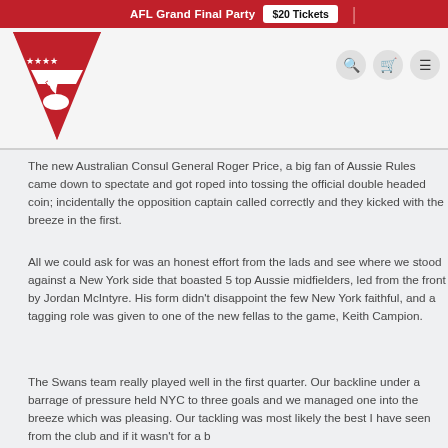AFL Grand Final Party  $20 Tickets
[Figure (logo): Sydney Swans style logo: red downward-pointing triangle/shield with four white stars and a white swan, red and white design]
The new Australian Consul General Roger Price, a big fan of Aussie Rules came down to spectate and got roped into tossing the official double headed coin; incidentally the opposition captain called correctly and they kicked with the breeze in the first.
All we could ask for was an honest effort from the lads and see where we stood against a New York side that boasted 5 top Aussie midfielders, led from the front by Jordan McIntyre. His form didn't disappoint the few New York faithful, and a tagging role was given to one of the new fellas to the game, Keith Campion.
The Swans team really played well in the first quarter. Our backline under a barrage of pressure held NYC to three goals and we managed one into the breeze which was pleasing. Our tackling was most likely the best I have seen from the club and if it wasn't for a b